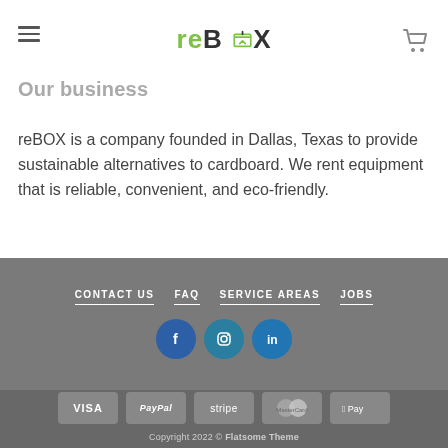work for reBOX to: jobs@reboxmove.com
[Figure (logo): reBOX logo with green 're' and dark 'BOX' text with a box/arrow icon]
Our business
reBOX is a company founded in Dallas, Texas to provide sustainable alternatives to cardboard.  We rent equipment that is reliable, convenient, and eco-friendly.
CONTACT US  FAQ  SERVICE AREAS  JOBS
[Figure (infographic): Social media icons: Facebook, Instagram, LinkedIn]
[Figure (infographic): Payment method badges: VISA, PayPal, stripe, MasterCard, Apple Pay]
Copyright 2022 © Flatsome Theme